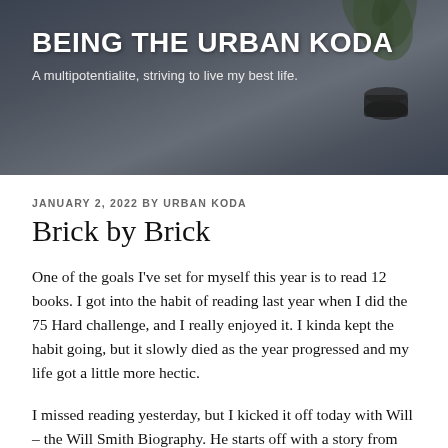[Figure (photo): Blog header banner with dark blurred background showing a plant and decorative vase on a wooden surface, overlaid with bold white site title and tagline text.]
BEING THE URBAN KODA
A multipotentialite, striving to live my best life.
JANUARY 2, 2022 BY URBAN KODA
Brick by Brick
One of the goals I've set for myself this year is to read 12 books. I got into the habit of reading last year when I did the 75 Hard challenge, and I really enjoyed it. I kinda kept the habit going, but it slowly died as the year progressed and my life got a little more hectic.
I missed reading yesterday, but I kicked it off today with Will – the Will Smith Biography. He starts off with a story from his childhood about building a wall and shares the lesson he learned from that experience. When you focus on building one wall at this point, you understand that